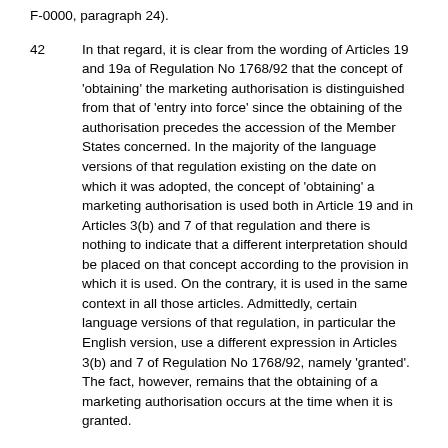F-0000, paragraph 24).
42      In that regard, it is clear from the wording of Articles 19 and 19a of Regulation No 1768/92 that the concept of 'obtaining' the marketing authorisation is distinguished from that of 'entry into force' since the obtaining of the authorisation precedes the accession of the Member States concerned. In the majority of the language versions of that regulation existing on the date on which it was adopted, the concept of 'obtaining' a marketing authorisation is used both in Article 19 and in Articles 3(b) and 7 of that regulation and there is nothing to indicate that a different interpretation should be placed on that concept according to the provision in which it is used. On the contrary, it is used in the same context in all those articles. Admittedly, certain language versions of that regulation, in particular the English version, use a different expression in Articles 3(b) and 7 of Regulation No 1768/92, namely 'granted'. The fact, however, remains that the obtaining of a marketing authorisation occurs at the time when it is granted.